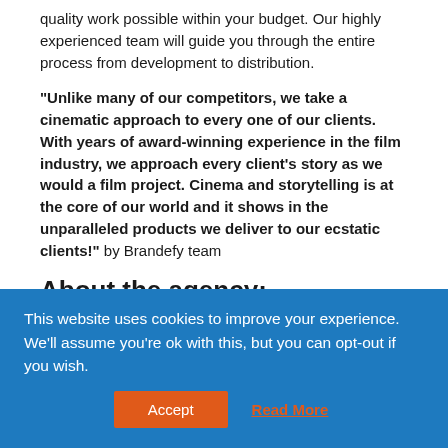quality work possible within your budget. Our highly experienced team will guide you through the entire process from development to distribution.
“Unlike many of our competitors, we take a cinematic approach to every one of our clients. With years of award-winning experience in the film industry, we approach every client’s story as we would a film project. Cinema and storytelling is at the core of our world and it shows in the unparalleled products we deliver to our ecstatic clients!” by Brandefy team
About the agency:
GrowthExpertz is a fully remote, digital marketing consultancy that focuses on driving lead volume for funded B2B and B2C
This website uses cookies to improve your experience. We’ll assume you’re ok with this, but you can opt-out if you wish.
Accept
Read More